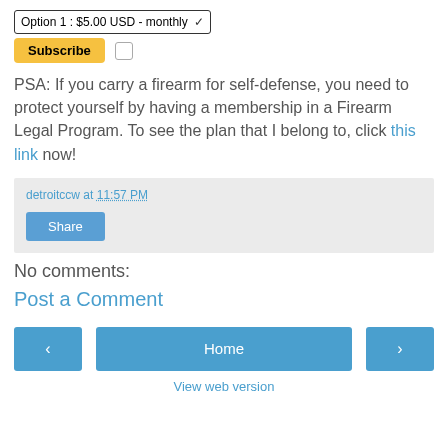[Figure (screenshot): Subscription dropdown selector showing 'Option 1 : $5.00 USD - monthly' with a PayPal Subscribe button and a checkbox]
PSA: If you carry a firearm for self-defense, you need to protect yourself by having a membership in a Firearm Legal Program. To see the plan that I belong to, click this link now!
detroitccw at 11:57 PM
Share
No comments:
Post a Comment
< Home > View web version